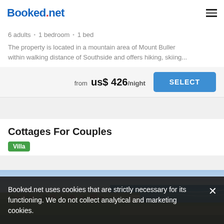Booked.net
6 adults • 1 bedroom • 1 bed
The property is located in a mountain area of Mount Buller within walking distance of Southside and offers hiking, skiing...
from us$ 426/night
Cottages For Couples
Villa
[Figure (photo): Aerial/coastal landscape photo showing a seaside area with buildings, sandy shore, ocean waves, and blue sky]
Booked.net uses cookies that are strictly necessary for its functioning. We do not collect analytical and marketing cookies.